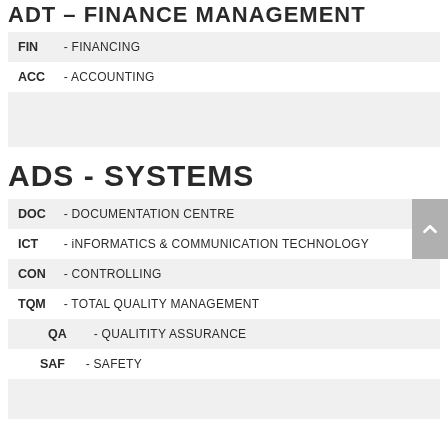ADT - FINANCE MANAGEMENT
FIN - FINANCING
ACC - ACCOUNTING
ADS - SYSTEMS
DOC - DOCUMENTATION CENTRE
ICT - iNFORMATICS & COMMUNICATION TECHNOLOGY
CON - CONTROLLING
TQM - TOTAL QUALITY MANAGEMENT
QA - QUALITITY ASSURANCE
SAF - SAFETY